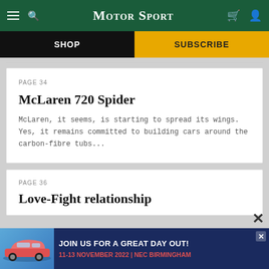Motor Sport — SHOP | SUBSCRIBE
PAGE 34
McLaren 720 Spider
McLaren, it seems, is starting to spread its wings. Yes, it remains committed to building cars around the carbon-fibre tubs...
PAGE 36
Love-Fight relationship
[Figure (screenshot): Advertisement banner: JOIN US FOR A GREAT DAY OUT! 11-13 NOVEMBER 2022 | NEC BIRMINGHAM with a blue Porsche 911 car image on the left]